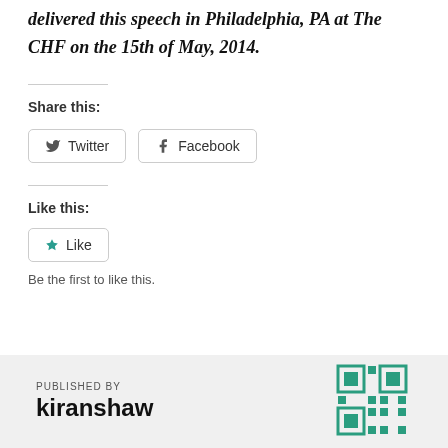delivered this speech in Philadelphia, PA at The CHF on the 15th of May, 2014.
Share this:
[Figure (other): Share buttons for Twitter and Facebook]
Like this:
[Figure (other): Like button (star icon)]
Be the first to like this.
PUBLISHED BY kiranshaw
[Figure (other): QR code or decorative pattern in teal/green]